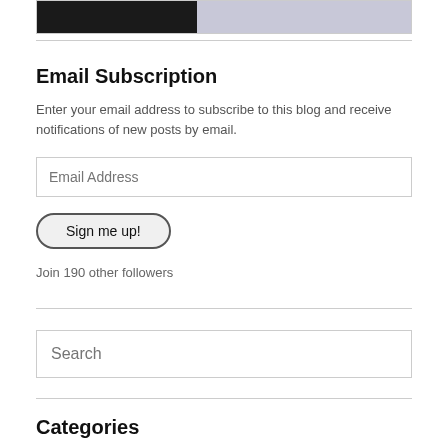[Figure (photo): Image strip showing book cover and another image at the top of the page]
Email Subscription
Enter your email address to subscribe to this blog and receive notifications of new posts by email.
Email Address
Sign me up!
Join 190 other followers
Search
Categories